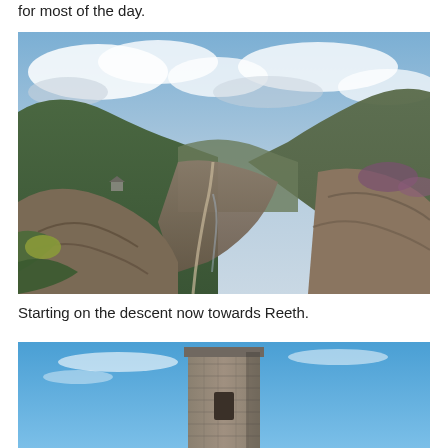for most of the day.
[Figure (photo): Aerial landscape view of a wide moorland valley with green hills on either side, rocky spoil heaps from old mining activity in the foreground and valley floor, a building visible on the left hillside, under a partly cloudy sky.]
Starting on the descent now towards Reeth.
[Figure (photo): Close-up of a tall stone chimney or tower against a bright blue sky with a few wispy clouds.]